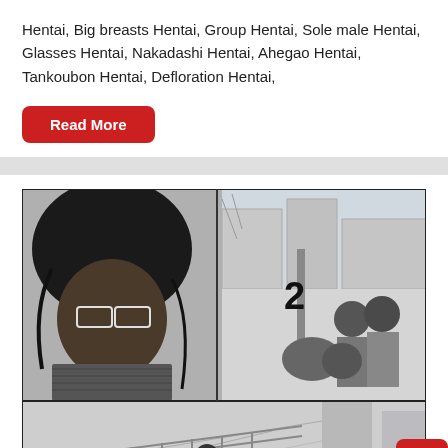Hentai, Big breasts Hentai, Group Hentai, Sole male Hentai, Glasses Hentai, Nakadashi Hentai, Ahegao Hentai, Tankoubon Hentai, Defloration Hentai,
Read More
[Figure (illustration): Black and white manga panel showing a girl with glasses and dark hair in the foreground looking somber, and two characters embracing in the background on a city street.]
[Figure (illustration): Black and white manga panel showing a street scene with a figure walking away, partial panel at the bottom.]